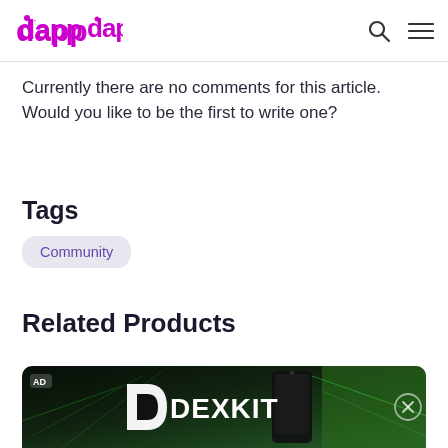dapp
Currently there are no comments for this article. Would you like to be the first to write one?
Tags
Community
Related Products
[Figure (photo): DEXKIT advertisement banner with dark green background, financial chart data, phone device, and DEXKIT logo in white]